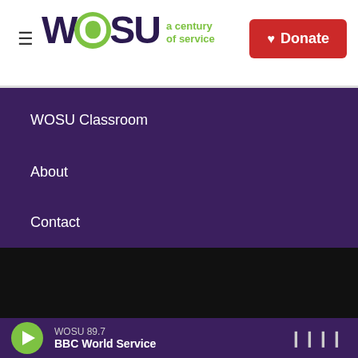[Figure (logo): WOSU logo with green O circle and 'a century of service' tagline, plus red Donate button]
WOSU Classroom
About
Contact
If you have a disability and experience difficulty accessing this content request an accommodation.
[Figure (logo): Partner logos: The Ohio State University, NPR, BBC, American Public Media, PRX]
WOSU 89.7 BBC World Service